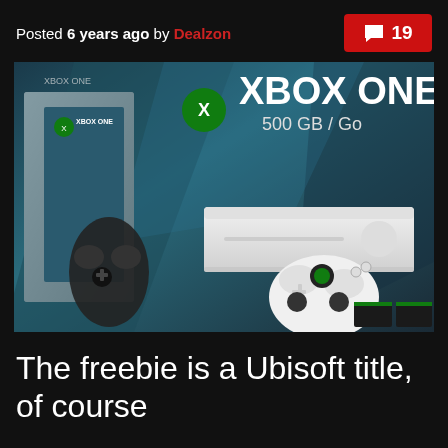Posted 6 years ago by Dealzon  19
[Figure (photo): Xbox One 500 GB / Go console bundle box art showing a white Xbox One console and controller against a teal/dark background]
The freebie is a Ubisoft title, of course